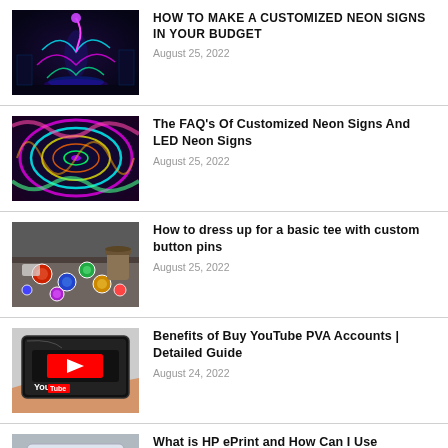HOW TO MAKE A CUSTOMIZED NEON SIGNS IN YOUR BUDGET
August 25, 2022
The FAQ's Of Customized Neon Signs And LED Neon Signs
August 25, 2022
How to dress up for a basic tee with custom button pins
August 25, 2022
Benefits of Buy YouTube PVA Accounts | Detailed Guide
August 24, 2022
What is HP ePrint and How Can I Use